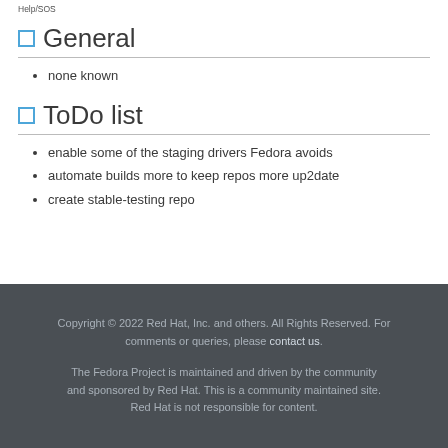Help/SOS
General
none known
ToDo list
enable some of the staging drivers Fedora avoids
automate builds more to keep repos more up2date
create stable-testing repo
Copyright © 2022 Red Hat, Inc. and others. All Rights Reserved. For comments or queries, please contact us. The Fedora Project is maintained and driven by the community and sponsored by Red Hat. This is a community maintained site. Red Hat is not responsible for content.